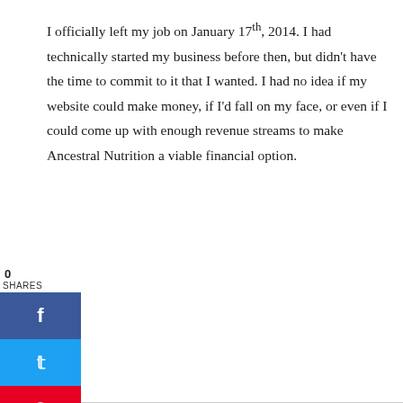I officially left my job on January 17th, 2014. I had technically started my business before then, but didn't have the time to commit to it that I wanted. I had no idea if my website could make money, if I'd fall on my face, or even if I could come up with enough revenue streams to make Ancestral Nutrition a viable financial option.
Just knew that I hated my current job and wanted to turn my passion into my full time job. I wanted to do something I enjoyed. I wanted to help people. I want to be my own boss. I wanted to work from home. I wanted to have that freedom.
So I left.